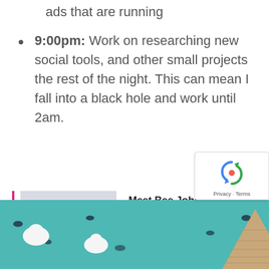ads that are running
9:00pm: Work on researching new social tools, and other small projects the rest of the night. This can mean I fall into a black hole and work until 2am.
[Figure (photo): Headshot of Bee Johnson, a woman with curly dark hair wearing a red cardigan over a blue top, against a light grey background.]
Meet Bee Johnson – Award-winning Illustrator with Unmistakeable Style
READ MORE
[Figure (photo): Bottom partial image showing a teal/turquoise background with white bird figurines and a woven/rattan cone shape, with dark scattered objects.]
[Figure (other): reCAPTCHA privacy badge in bottom right corner showing the reCAPTCHA logo with Privacy and Terms text.]